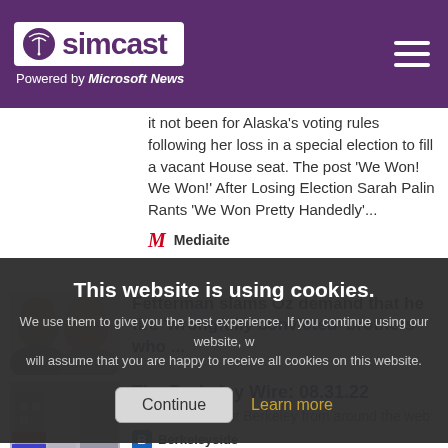simcast — Powered by Microsoft News
it not been for Alaska's voting rules following her loss in a special election to fill a vacant House seat. The post 'We Won! We Won!' After Losing Election Sarah Palin Rants 'We Won Pretty Handedly'...
Mediaite
[Figure (photo): Two men's faces side by side]
Fetterman slams Oz demand that he fire 'wrongfully convicted' brothers who ...
This website is using cookies. We use them to give you the best experience. If you continue using our website, we will assume that you are happy to receive all cookies on this website.
[Figure (photo): Building exterior with signs]
The Berkeley Wire: 08.31.22
More news about Berkeley from around the web.
Berkeleyside